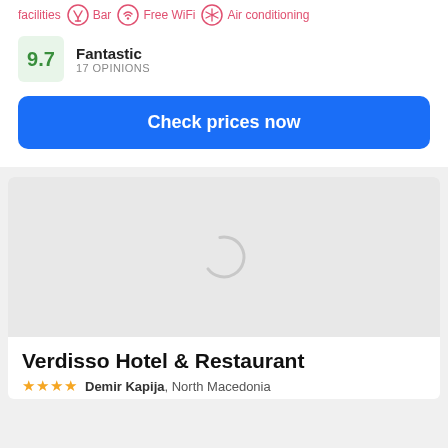facilities  Bar  Free WiFi  Air conditioning
9.7 Fantastic 17 OPINIONS
Check prices now
[Figure (photo): Loading spinner / image placeholder for hotel photo]
Verdisso Hotel & Restaurant
★★★★  Demir Kapija, North Macedonia